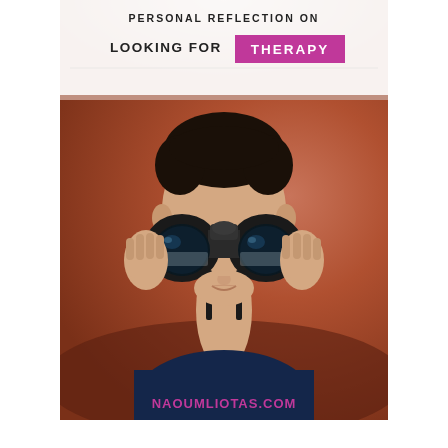[Figure (illustration): Cover image for an article titled 'Personal Reflection on Looking for Therapy'. Shows a young man holding binoculars up to his eyes against a reddish-brown background. Text overlay at top reads 'PERSONAL REFLECTION ON LOOKING FOR THERAPY' with 'THERAPY' in white text on a magenta/purple rectangle. At the bottom: 'NAOUMLIOTAS.COM' in magenta text.]